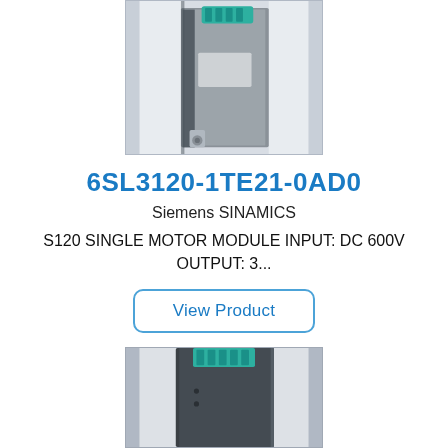[Figure (photo): Top photo of Siemens SINAMICS S120 single motor module — silver/dark metal enclosure with teal connector at top, viewed from side/back angle]
6SL3120-1TE21-0AD0
Siemens SINAMICS
S120 SINGLE MOTOR MODULE INPUT: DC 600V OUTPUT: 3...
View Product
[Figure (photo): Bottom photo of Siemens SINAMICS S120 single motor module — dark enclosure with teal connector at top, partially cropped]